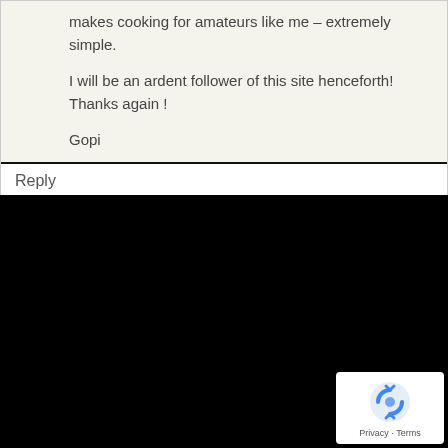makes cooking for amateurs like me – extremely simple.
I will be an ardent follower of this site henceforth! Thanks again !
Gopi
Reply
[Figure (logo): reCAPTCHA badge with Privacy and Terms links]